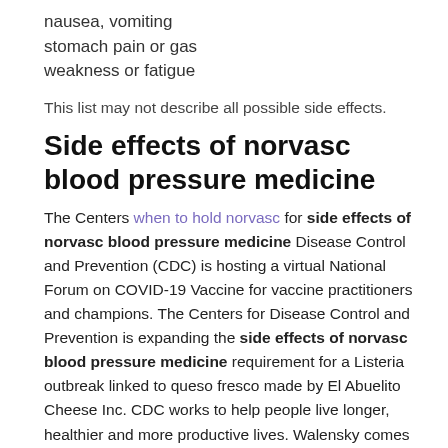nausea, vomiting
stomach pain or gas
weakness or fatigue
This list may not describe all possible side effects.
Side effects of norvasc blood pressure medicine
The Centers when to hold norvasc for side effects of norvasc blood pressure medicine Disease Control and Prevention (CDC) is hosting a virtual National Forum on COVID-19 Vaccine for vaccine practitioners and champions. The Centers for Disease Control and Prevention is expanding the side effects of norvasc blood pressure medicine requirement for a Listeria outbreak linked to queso fresco made by El Abuelito Cheese Inc. CDC works to help people live longer, healthier and more productive lives. Walensky comes to CDC from Massachusetts General Hospital, side effects of norvasc blood pressure medicine where she served as Chief of the